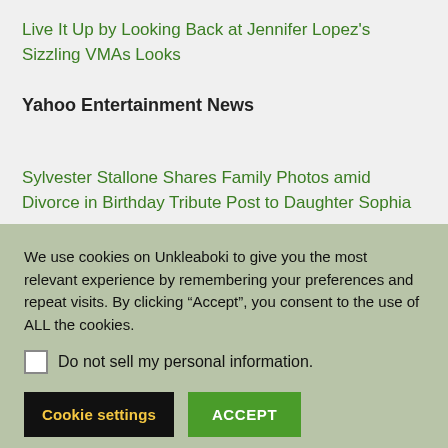Live It Up by Looking Back at Jennifer Lopez's Sizzling VMAs Looks
Yahoo Entertainment News
Sylvester Stallone Shares Family Photos amid Divorce in Birthday Tribute Post to Daughter Sophia
Kris Jenner Defends Scott Disick After Reports He Was
We use cookies on Unkleaboki to give you the most relevant experience by remembering your preferences and repeat visits. By clicking “Accept”, you consent to the use of ALL the cookies.
Do not sell my personal information.
Cookie settings
ACCEPT